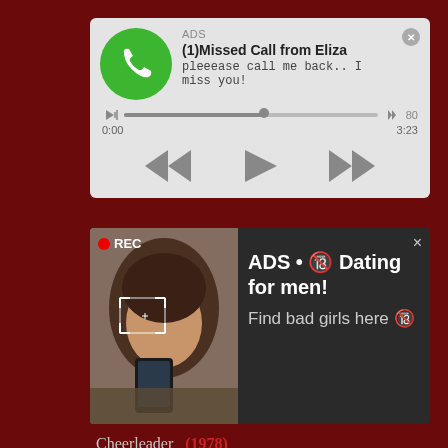[Figure (screenshot): Audio player ad card with green phone icon, 'ADS' label, '(1)Missed Call from Eliza' title, subtitle 'pleeease call me back.. I miss you!', audio seek bar, timestamps 0:00 and 3:23, and playback controls (rewind, play, fast-forward)]
[Figure (screenshot): Dating advertisement card with a photo of a woman taking a selfie with REC indicator overlay, dark background with text 'ADS • Dating for men! Find bad girls here']
Cheerleader   (1978)
Classic   (35123)
Clitoris   (4732)
Close up   (102955)